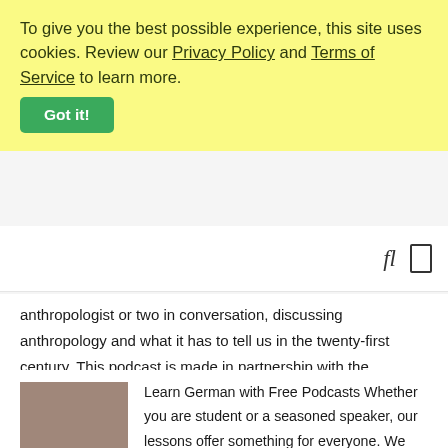To give you the best possible experience, this site uses cookies. Review our Privacy Policy and Terms of Service to learn more.
Got it!
anthropologist or two in conversation, discussing anthropology and what it has to tell us in the twenty-first century. This podcast is made in partnership with the American Anthropological Association and with support from the Faculty of Arts &...
[Figure (photo): Thumbnail image placeholder in brownish-gray color]
Learn German with Free Podcasts Whether you are student or a seasoned speaker, our lessons offer something for everyone. We incorporate culture and current issues into each episode to